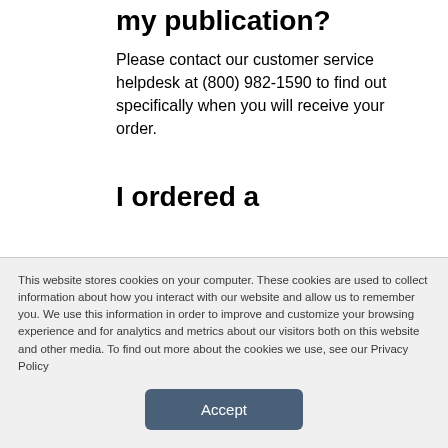my publication?
Please contact our customer service helpdesk at (800) 982-1590 to find out specifically when you will receive your order.
I ordered a
This website stores cookies on your computer. These cookies are used to collect information about how you interact with our website and allow us to remember you. We use this information in order to improve and customize your browsing experience and for analytics and metrics about our visitors both on this website and other media. To find out more about the cookies we use, see our Privacy Policy
Accept